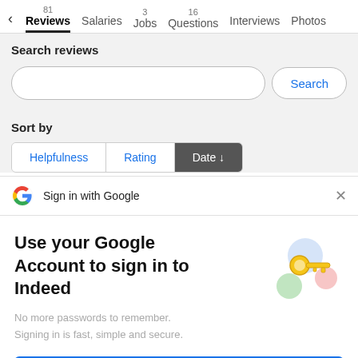< Reviews 81  Salaries  Jobs 3  Questions 16  Interviews  Photos
Search reviews
Search
Sort by
Helpfulness | Rating | Date ↓
Sign in with Google
Use your Google Account to sign in to Indeed
No more passwords to remember.
Signing in is fast, simple and secure.
[Figure (illustration): Google account key illustration with colorful circles and a golden key]
Continue